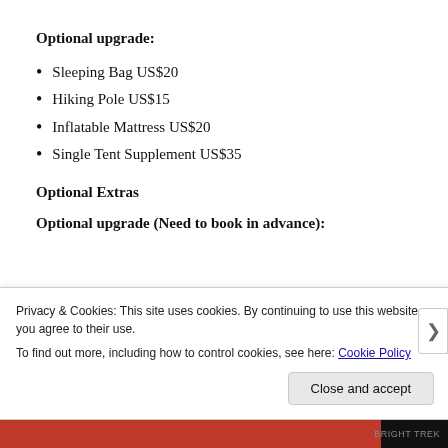Optional upgrade:
Sleeping Bag US$20
Hiking Pole US$15
Inflatable Mattress US$20
Single Tent Supplement US$35
Optional Extras
Optional upgrade (Need to book in advance):
Privacy & Cookies: This site uses cookies. By continuing to use this website, you agree to their use.
To find out more, including how to control cookies, see here: Cookie Policy
Close and accept